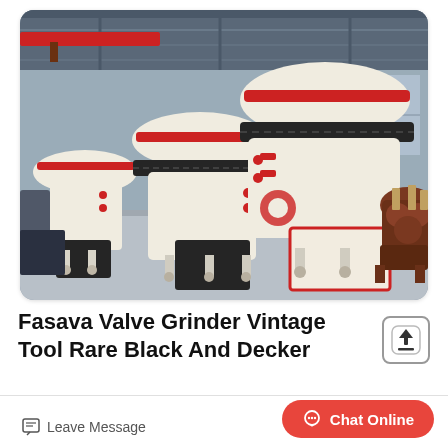[Figure (photo): Industrial factory floor with a row of large white cone crusher machines with red accents and black chain rings at the top. The rightmost machine has exposed brown/rust colored mechanical components. Set inside a large warehouse with steel roof structure and red overhead crane beam visible.]
Fasava Valve Grinder Vintage Tool Rare Black And Decker
Leave Message
Chat Online